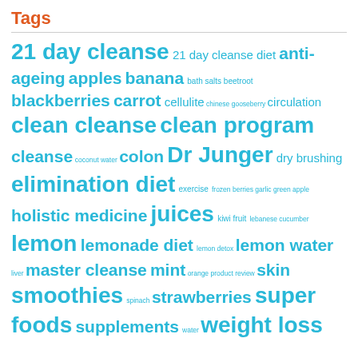Tags
21 day cleanse 21 day cleanse diet anti-ageing apples banana bath salts beetroot blackberries carrot cellulite chinese gooseberry circulation clean cleanse clean program cleanse coconut water colon Dr Junger dry brushing elimination diet exercise frozen berries garlic green apple holistic medicine juices kiwi fruit lebanese cucumber lemon lemonade diet lemon detox lemon water liver master cleanse mint orange product review skin smoothies spinach strawberries super foods supplements water weight loss